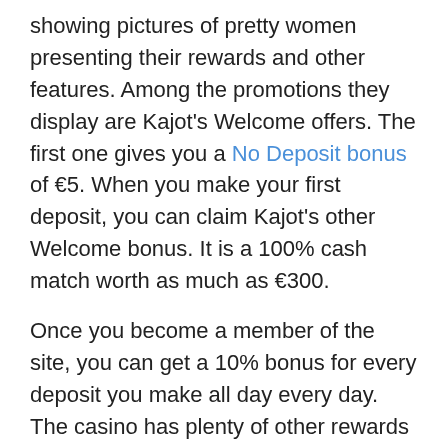showing pictures of pretty women presenting their rewards and other features. Among the promotions they display are Kajot's Welcome offers. The first one gives you a No Deposit bonus of €5. When you make your first deposit, you can claim Kajot's other Welcome bonus. It is a 100% cash match worth as much as €300.
Once you become a member of the site, you can get a 10% bonus for every deposit you make all day every day. The casino has plenty of other rewards you can claim. Among the bonuses they offer are free spins, cashback and raffle prizes. The casino will also give you free spins on your birthday.
Kajot has a Loyalty program that rewards their members with cashback. Once you have deposited money and made a wager, the casino will give you 5% monthly cashback.
Kajot also has a VIP Club that is reserved for their best...